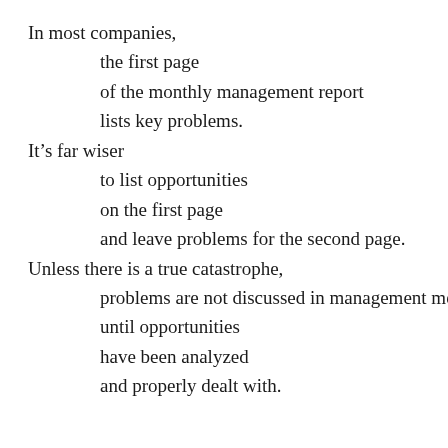In most companies, the first page of the monthly management report lists key problems. It's far wiser to list opportunities on the first page and leave problems for the second page. Unless there is a true catastrophe, problems are not discussed in management meetings until opportunities have been analyzed and properly dealt with.